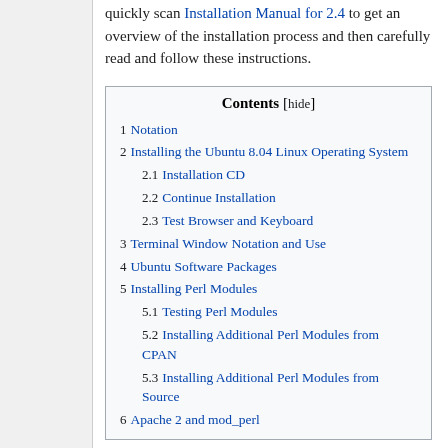quickly scan Installation Manual for 2.4 to get an overview of the installation process and then carefully read and follow these instructions.
| Contents |
| --- |
| 1 | Notation |
| 2 | Installing the Ubuntu 8.04 Linux Operating System |
| 2.1 | Installation CD |
| 2.2 | Continue Installation |
| 2.3 | Test Browser and Keyboard |
| 3 | Terminal Window Notation and Use |
| 4 | Ubuntu Software Packages |
| 5 | Installing Perl Modules |
| 5.1 | Testing Perl Modules |
| 5.2 | Installing Additional Perl Modules from CPAN |
| 5.3 | Installing Additional Perl Modules from Source |
| 6 | Apache 2 and mod_perl |